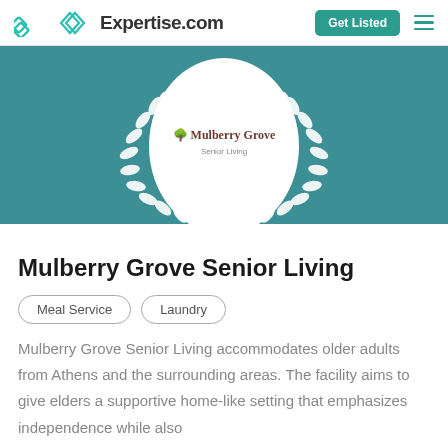Expertise.com | Get Listed
[Figure (logo): Mulberry Grove Senior Living logo centered in a white oval with decorative laurel wreath on teal background]
Mulberry Grove Senior Living
Meal Service
Laundry
Mulberry Grove Senior Living accommodates older adults from Athens and the surrounding areas. The facility aims to give elders a supportive home-like setting that emphasizes independence while also